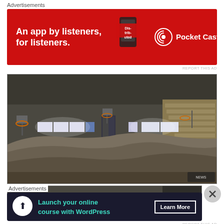Advertisements
[Figure (photo): Pocket Casts advertisement banner: red background with white text 'An app by listeners, for listeners.' and Pocket Casts logo on the right with a podcast app graphic in the center.]
REPORT THIS AD
[Figure (photo): Indoor gymnasium or sports hall with snow drifted on the floor, bleachers visible on the right, bright windows along the back wall, basketball hoops visible, dark interior lighting.]
[Figure (photo): Partially visible image at the bottom showing interior of what appears to be the same gym.]
Advertisements
[Figure (photo): Dark advertisement banner with white circle icon showing a person at a computer, teal text 'Launch your online course with WordPress' and 'Learn More' button.]
REPORT THIS AD